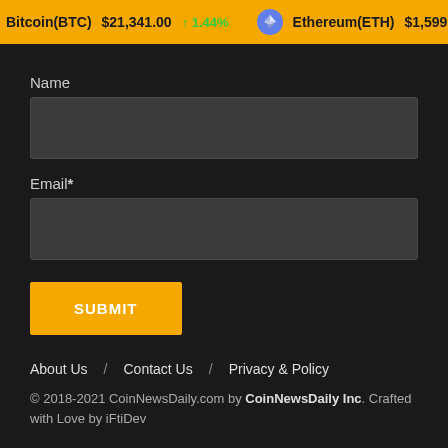Bitcoin(BTC) $21,341.00 ↑ 1.44% Ethereum(ETH) $1,599.12 ↓
Name
Email*
SUBMIT
About Us / Contact Us / Privacy & Policy
© 2018-2021 CoinNewsDaily.com by CoinNewsDaily Inc. Crafted with Love by iFtiDev